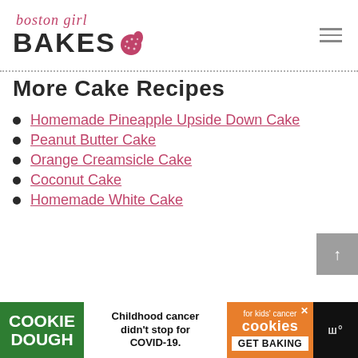boston girl BAKES
More Cake Recipes
Homemade Pineapple Upside Down Cake
Peanut Butter Cake
Orange Creamsicle Cake
Coconut Cake
Homemade White Cake
[Figure (other): Cookie Dough / Cookies for kids cancer ad banner: Childhood cancer didn't stop for COVID-19. GET BAKING]